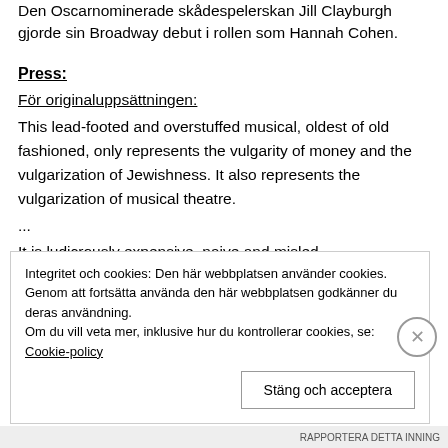Den Oscarnominerade skådespelerskan Jill Clayburgh gjorde sin Broadway debut i rollen som Hannah Cohen.
Press:
För originaluppsättningen:
This lead-footed and overstuffed musical, oldest of old fashioned, only represents the vulgarity of money and the vulgarization of Jewishness. It also represents the vulgarization of musical theatre.
...
It is ludicrously expensive, naive and misled.
Integritet och cookies: Den här webbplatsen använder cookies. Genom att fortsätta använda den här webbplatsen godkänner du deras användning.
Om du vill veta mer, inklusive hur du kontrollerar cookies, se: Cookie-policy
Stäng och acceptera